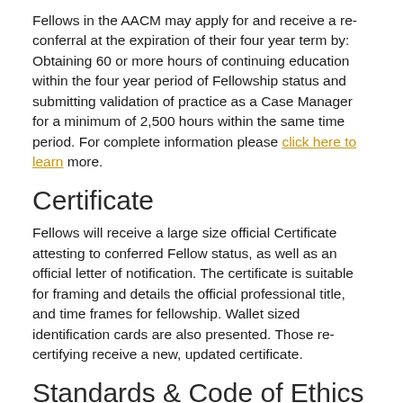Fellows in the AACM may apply for and receive a re-conferral at the expiration of their four year term by: Obtaining 60 or more hours of continuing education within the four year period of Fellowship status and submitting validation of practice as a Case Manager for a minimum of 2,500 hours within the same time period. For complete information please click here to learn more.
Certificate
Fellows will receive a large size official Certificate attesting to conferred Fellow status, as well as an official letter of notification. The certificate is suitable for framing and details the official professional title, and time frames for fellowship. Wallet sized identification cards are also presented. Those re-certifying receive a new, updated certificate.
Standards & Code of Ethics
Once a candidate has been officially conferred Fellowship